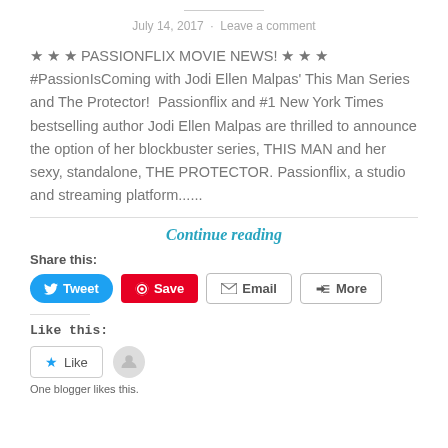July 14, 2017 · Leave a comment
★ ★ ★ PASSIONFLIX MOVIE NEWS! ★ ★ ★ #PassionIsComing with Jodi Ellen Malpas' This Man Series and The Protector! Passionflix and #1 New York Times bestselling author Jodi Ellen Malpas are thrilled to announce the option of her blockbuster series, THIS MAN and her sexy, standalone, THE PROTECTOR. Passionflix, a studio and streaming platform......
Continue reading
Share this:
Tweet Save Email More
Like this:
Like
One blogger likes this.